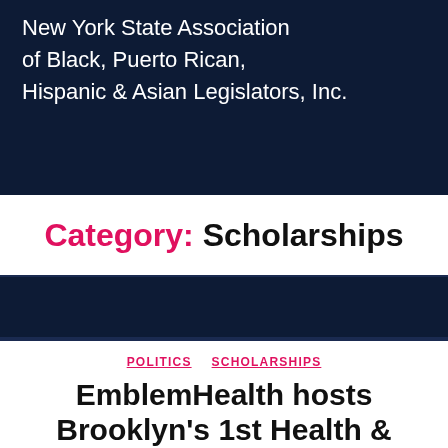New York State Association of Black, Puerto Rican, Hispanic & Asian Legislators, Inc.
Category: Scholarships
POLITICS  SCHOLARSHIPS
EmblemHealth hosts Brooklyn's 1st Health & Wellness Expo
By opusseven   September 23, 2021